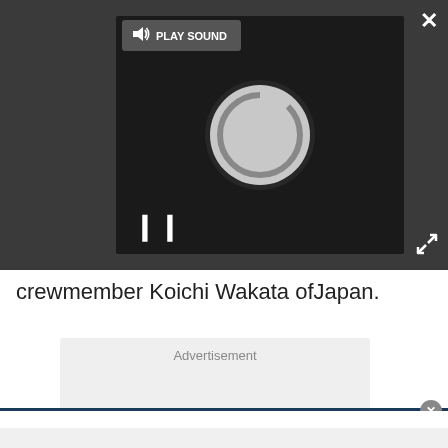[Figure (screenshot): A dark media player bar with a loading/spinning circle animation in the video area, a PLAY SOUND button with speaker icon, a pause button (two vertical bars), a close (X) button in the top right, and an expand button in the bottom right.]
crewmember Koichi Wakata ofJapan.
Advertisement